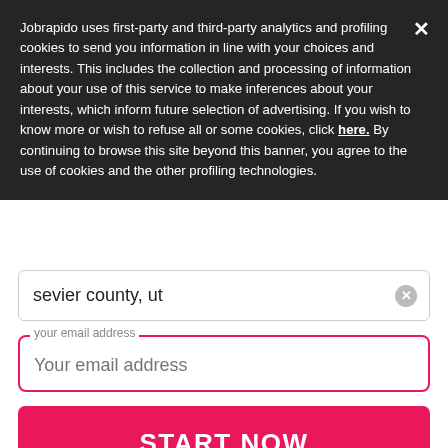Jobrapido uses first-party and third-party analytics and profiling cookies to send you information in line with your choices and interests. This includes the collection and processing of information about your use of this service to make inferences about your interests, which inform future selection of advertising. If you wish to know more or wish to refuse all or some cookies, click here. By continuing to browse this site beyond this banner, you agree to the use of cookies and the other profiling technologies.
sevier county, ut
your email address
Your email address
START NOW
By clicking on the Start now button, you subscribe to our Job Alert and acknowledge the Privacy Policy, Terms of service and the Notice on the semantic analysis and processing of your search keywords as well as of the jobs that you click and apply for.This site is protected by reCAPTCHA and the Google Privacy Policy and Terms of Service apply.